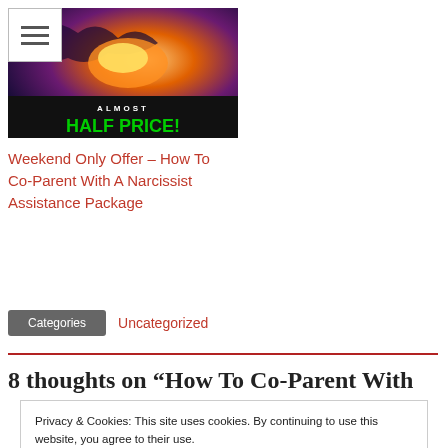[Figure (illustration): Promotional image with fantasy art showing a dragon and warrior, with green bold text 'HALF PRICE!' and small text 'ALMOST' above it on a dark background]
Weekend Only Offer – How To Co-Parent With A Narcissist Assistance Package
Categories   Uncategorized
8 thoughts on “How To Co-Parent With
Privacy & Cookies: This site uses cookies. By continuing to use this website, you agree to their use.
To find out more, including how to control cookies, see here: Cookie Policy
Close and accept